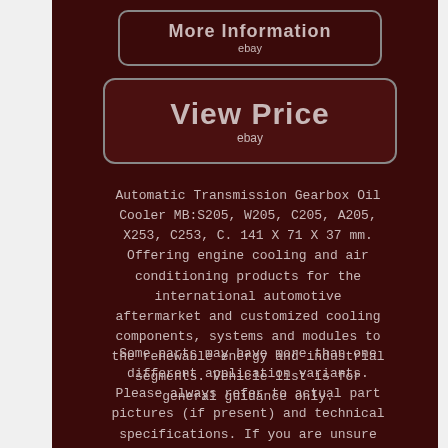[Figure (screenshot): Button labeled 'More Information' with 'ebay' subtitle, dark rounded rectangle style]
[Figure (screenshot): Button labeled 'View Price' with 'ebay' subtitle, dark rounded rectangle style]
Automatic Transmission Gearbox Oil Cooler MB:S205, W205, C205, A205, X253, C253, C. 141 X 71 X 37 mm. Offering engine cooling and air conditioning products for the international automotive aftermarket and customized cooling components, systems and modules to the renewable energy and industrial segments. Vehicle list is for general guidance only.
Some parts may have more than one different application variants. Please always refer to actual part pictures (if present) and technical specifications. If you are unsure or seeking for correct part, send